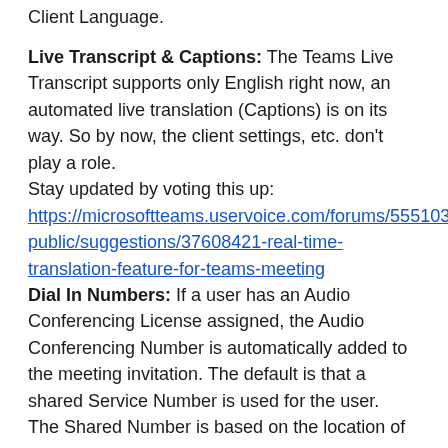Client Language.
Live Transcript & Captions: The Teams Live Transcript supports only English right now, an automated live translation (Captions) is on its way. So by now, the client settings, etc. don't play a role.
Stay updated by voting this up:
https://microsoftteams.uservoice.com/forums/555103-public/suggestions/37608421-real-time-translation-feature-for-teams-meeting
Dial In Numbers: If a user has an Audio Conferencing License assigned, the Audio Conferencing Number is automatically added to the meeting invitation. The default is that a shared Service Number is used for the user. The Shared Number is based on the location of